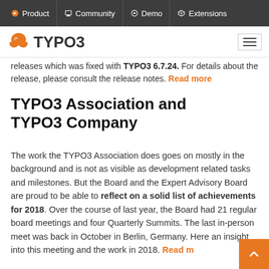Product | Community | Demo | Extensions
[Figure (logo): TYPO3 logo with orange butterfly icon and TYPO3 wordmark, plus hamburger menu icon on the right]
releases which was fixed with TYPO3 6.7.24. For details about the release, please consult the release notes. Read more
TYPO3 Association and TYPO3 Company
The work the TYPO3 Association does goes on mostly in the background and is not as visible as development related tasks and milestones. But the Board and the Expert Advisory Board are proud to be able to reflect on a solid list of achievements for 2018. Over the course of last year, the Board had 21 regular board meetings and four Quarterly Summits. The last in-person meet was back in October in Berlin, Germany. Here an insight into this meeting and the work in 2018. Read m